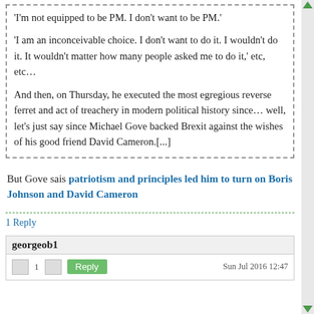'I'm not equipped to be PM. I don't want to be PM.'
'I am an inconceivable choice. I don't want to do it. I wouldn't do it. It wouldn't matter how many people asked me to do it,' etc, etc…
And then, on Thursday, he executed the most egregious reverse ferret and act of treachery in modern political history since… well, let's just say since Michael Gove backed Brexit against the wishes of his good friend David Cameron.[...]
But Gove sais patriotism and principles led him to turn on Boris Johnson and David Cameron
1 Reply
georgeob1